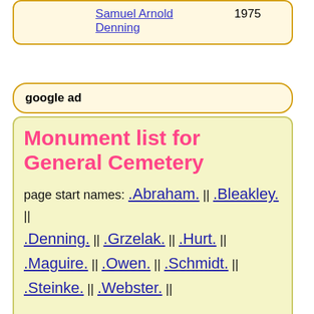|  | Name | Year |  |
| --- | --- | --- | --- |
|  | Samuel Arnold Denning | 1975 |  |
google ad
Monument list for General Cemetery
page start names: .Abraham. || .Bleakley. || .Denning. || .Grzelak. || .Hurt. || .Maguire. || .Owen. || .Schmidt. || .Steinke. || .Webster. ||
A burial monument list gives all the names showed on each monument (show FAQ).